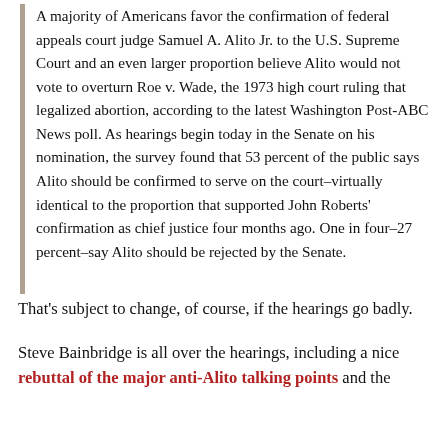A majority of Americans favor the confirmation of federal appeals court judge Samuel A. Alito Jr. to the U.S. Supreme Court and an even larger proportion believe Alito would not vote to overturn Roe v. Wade, the 1973 high court ruling that legalized abortion, according to the latest Washington Post-ABC News poll. As hearings begin today in the Senate on his nomination, the survey found that 53 percent of the public says Alito should be confirmed to serve on the court–virtually identical to the proportion that supported John Roberts' confirmation as chief justice four months ago. One in four–27 percent–say Alito should be rejected by the Senate.
That's subject to change, of course, if the hearings go badly.
Steve Bainbridge is all over the hearings, including a nice rebuttal of the major anti-Alito talking points and the